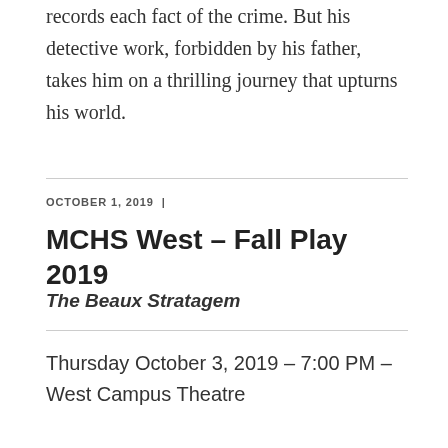records each fact of the crime. But his detective work, forbidden by his father, takes him on a thrilling journey that upturns his world.
OCTOBER 1, 2019 |
MCHS West – Fall Play 2019
The Beaux Stratagem
Thursday October 3, 2019 – 7:00 PM – West Campus Theatre